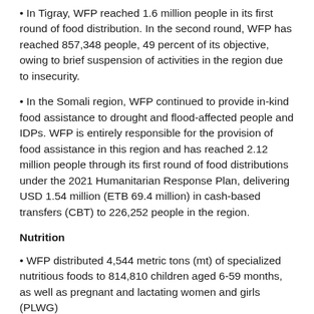In Tigray, WFP reached 1.6 million people in its first round of food distribution. In the second round, WFP has reached 857,348 people, 49 percent of its objective, owing to brief suspension of activities in the region due to insecurity.
In the Somali region, WFP continued to provide in-kind food assistance to drought and flood-affected people and IDPs. WFP is entirely responsible for the provision of food assistance in this region and has reached 2.12 million people through its first round of food distributions under the 2021 Humanitarian Response Plan, delivering USD 1.54 million (ETB 69.4 million) in cash-based transfers (CBT) to 226,252 people in the region.
Nutrition
WFP distributed 4,544 metric tons (mt) of specialized nutritious foods to 814,810 children aged 6-59 months, as well as pregnant and lactating women and girls (PLWG)